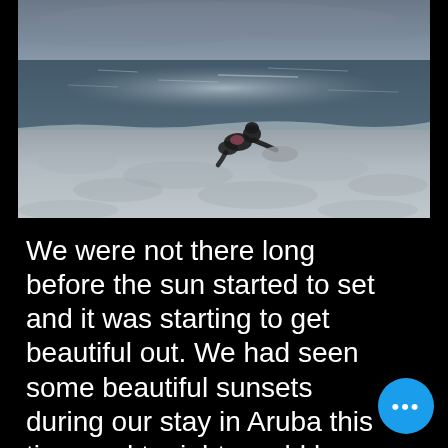[Figure (photo): A child playing on a beach at dusk/sunset. The child is silhouetted against the ocean and sand. The sky is overcast and the ocean reflects some light. The scene appears to be in Aruba.]
We were not there long before the sun started to set and it was starting to get beautiful out. We had seen some beautiful sunsets during our stay in Aruba this time and tonight would be no